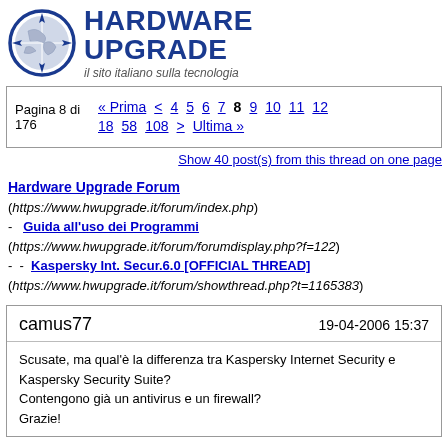[Figure (logo): Hardware Upgrade logo with compass icon and text 'HARDWARE UPGRADE - il sito italiano sulla tecnologia']
Pagina 8 di 176  « Prima  < 4 5 6 7 8 9 10 11 12  18 58 108 > Ultima »
Show 40 post(s) from this thread on one page
Hardware Upgrade Forum (https://www.hwupgrade.it/forum/index.php) - Guida all'uso dei Programmi (https://www.hwupgrade.it/forum/forumdisplay.php?f=122) - - Kaspersky Int. Secur.6.0 [OFFICIAL THREAD] (https://www.hwupgrade.it/forum/showthread.php?t=1165383)
| author | date |
| --- | --- |
| camus77 | 19-04-2006 15:37 |
Scusate, ma qual'è la differenza tra Kaspersky Internet Security e Kaspersky Security Suite?
Contengono già un antivirus e un firewall?
Grazie!